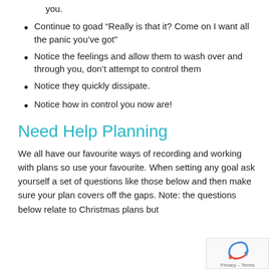you.
Continue to goad “Really is that it? Come on I want all the panic you’ve got”
Notice the feelings and allow them to wash over and through you, don’t attempt to control them
Notice they quickly dissipate.
Notice how in control you now are!
Need Help Planning
We all have our favourite ways of recording and working with plans so use your favourite. When setting any goal ask yourself a set of questions like those below and then make sure your plan covers off the gaps. Note: the questions below relate to Christmas plans but